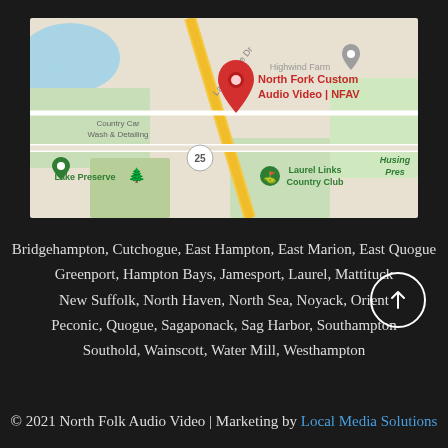[Figure (map): Google Maps screenshot showing North Fork Custom Audio Video | NFAV location marker in red, with nearby landmarks including Lake Preserve, Country Car Wash & Detailing, Highwind Farm, Laurel Links Country Club, and Husing Pres. Road 25 visible.]
Bridgehampton, Cutchogue, East Hampton, East Marion, East Quogue
Greenport, Hampton Bays, Jamesport, Laurel, Mattituck
New Suffolk, North Haven, North Sea, Noyack, Orient
Peconic, Quogue, Sagaponack, Sag Harbor, Southampton
Southold, Wainscott, Water Mill, Westhampton
© 2021 North Folk Audio Video | Marketing by Local Media Solutions